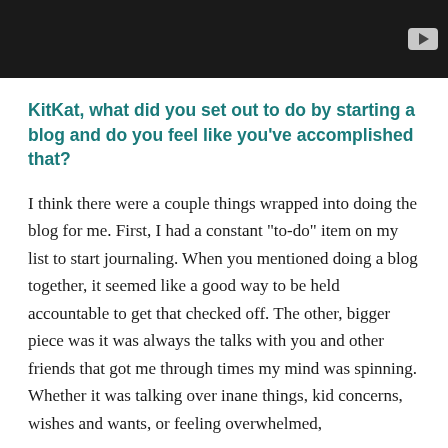[Figure (screenshot): Dark/black video thumbnail with a light gray play button icon in the top-right corner]
KitKat, what did you set out to do by starting a blog and do you feel like you’ve accomplished that?
I think there were a couple things wrapped into doing the blog for me. First, I had a constant “to-do” item on my list to start journaling. When you mentioned doing a blog together, it seemed like a good way to be held accountable to get that checked off. The other, bigger piece was it was always the talks with you and other friends that got me through times my mind was spinning. Whether it was talking over inane things, kid concerns, wishes and wants, or feeling overwhelmed,